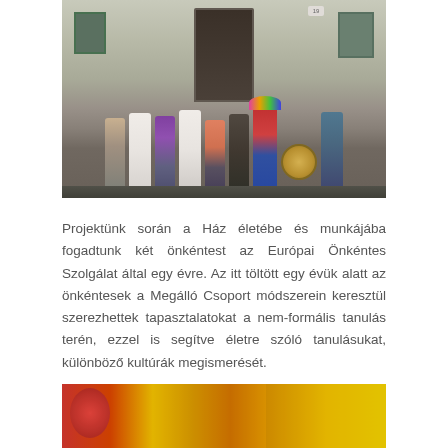[Figure (photo): Group of people in costumes including white lab coats, a clown with rainbow wig, and others standing in front of a building entrance with a large gong]
Projektünk során a Ház életébe és munkájába fogadtunk két önkéntest az Európai Önkéntes Szolgálat által egy évre. Az itt töltött egy évük alatt az önkéntesek a Megálló Csoport módszerein keresztül szerezhettek tapasztalatokat a nem-formális tanulás terén, ezzel is segítve életre szóló tanulásukat, különböző kultúrák megismerését.
[Figure (photo): Colorful photograph showing red and yellow elements, partially visible at bottom of page]